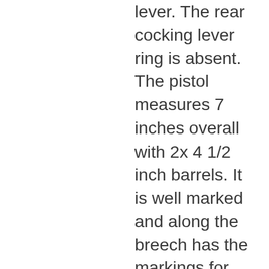lever. The rear cocking lever ring is absent. The pistol measures 7 inches overall with 2x 4 1/2 inch barrels. It is well marked and along the breech has the markings for 'Kayaba Seisakusho' (Kayaba Manufacturing Co.), the Naval anchor and Japanese military inspection mark. The serial number is 3320. The pistol is complete apart from the cocking lever and has been